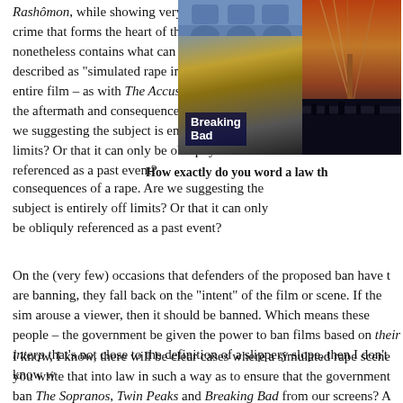Rashômon, while showing very little of the crime that forms the heart of the film, nonetheless contains what can only be described as “simulated rape imagery”. The entire film – as with The Accused – centres on the aftermath and consequences of a rape. Are we suggesting the subject is entirely off limits? Or that it can only be obliquely referenced as a past event?
[Figure (photo): Two images side by side: left shows Breaking Bad TV series poster with a man in glasses and yellow-tinted face; right shows a bridge scene at night/dusk.]
How exactly do you word a law th
On the (very few) occasions that defenders of the proposed ban have tried to define what they are banning, they fall back on the “intent” of the film or scene. If the sim arouse a viewer, then it should be banned. Which means these people – the government be given the power to ban films based on their interpre that's not close to the definition of a slippery slope, then I don’t know wh
I know, I know, there will be clear cases where a simulated rape scene you write that into law in such a way as to ensure that the government c ban The Sopranos, Twin Peaks and Breaking Bad from our screens? A out on Twitter, David Cameron himself owns the TV series ‘24’ on DVD. imagery”. Nobody is arguing that there aren’t deplorable things out ther